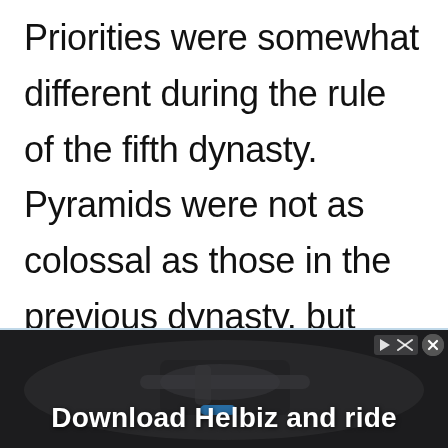Priorities were somewhat different during the rule of the fifth dynasty. Pyramids were not as colossal as those in the previous dynasty, but
[Figure (photo): Advertisement overlay showing a scooter/bicycle handlebar close-up with dark background and text 'Download Helbiz and ride']